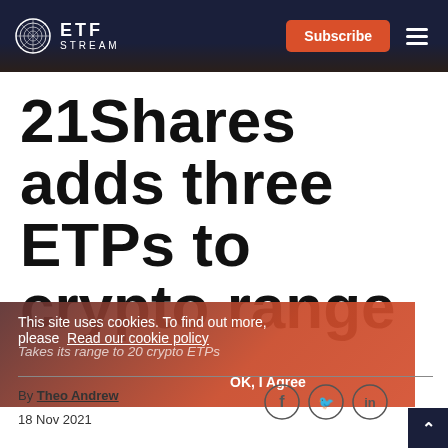ETF STREAM
21Shares adds three ETPs to crypto range
Takes its range to 20 crypto ETPs
This site uses cookies. To find out more, please Read our cookie policy
OK, I Agree
By Theo Andrew
18 Nov 2021